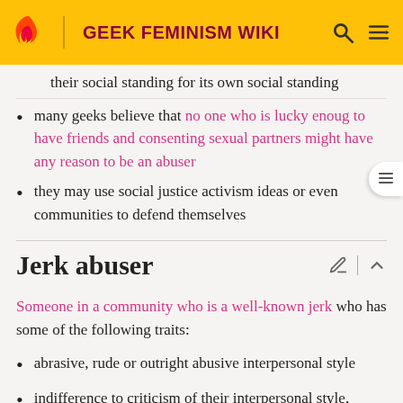GEEK FEMINISM WIKI
their social standing for its own social standing
many geeks believe that no one who is lucky enough to have friends and consenting sexual partners might have any reason to be an abuser
they may use social justice activism ideas or even communities to defend themselves
Jerk abuser
Someone in a community who is a well-known jerk who has some of the following traits:
abrasive, rude or outright abusive interpersonal style
indifference to criticism of their interpersonal style,